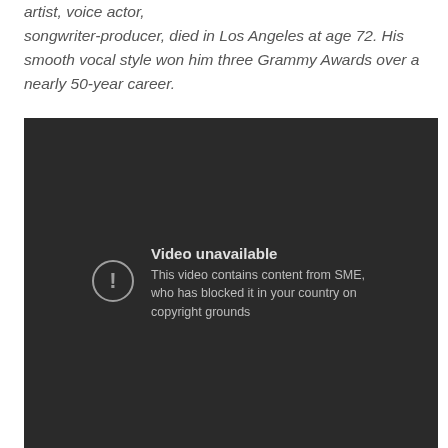artist, voice actor, songwriter-producer, died in Los Angeles at age 72. His smooth vocal style won him three Grammy Awards over a nearly 50-year career.
[Figure (screenshot): Embedded video player showing a 'Video unavailable' error message. The player has a dark background with a circular exclamation icon on the left and text on the right reading 'Video unavailable' and 'This video contains content from SME, who has blocked it in your country on copyright grounds'.]